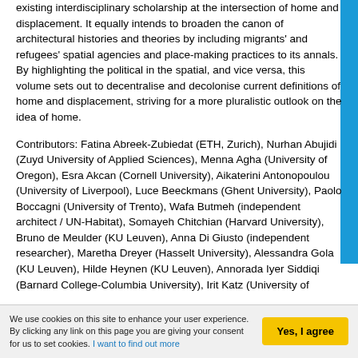existing interdisciplinary scholarship at the intersection of home and displacement. It equally intends to broaden the canon of architectural histories and theories by including migrants' and refugees' spatial agencies and place-making practices to its annals. By highlighting the political in the spatial, and vice versa, this volume sets out to decentralise and decolonise current definitions of home and displacement, striving for a more pluralistic outlook on the idea of home.
Contributors: Fatina Abreek-Zubiedat (ETH, Zurich), Nurhan Abujidi (Zuyd University of Applied Sciences), Menna Agha (University of Oregon), Esra Akcan (Cornell University), Aikaterini Antonopoulou (University of Liverpool), Luce Beeckmans (Ghent University), Paolo Boccagni (University of Trento), Wafa Butmeh (independent architect / UN-Habitat), Somayeh Chitchian (Harvard University), Bruno de Meulder (KU Leuven), Anna Di Giusto (independent researcher), Maretha Dreyer (Hasselt University), Alessandra Gola (KU Leuven), Hilde Heynen (KU Leuven), Annorada Iyer Siddiqi (Barnard College-Columbia University), Irit Katz (University of
We use cookies on this site to enhance your user experience. By clicking any link on this page you are giving your consent for us to set cookies. I want to find out more